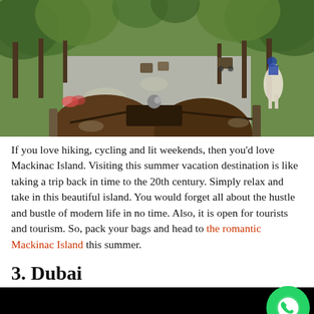[Figure (photo): View from inside a horse-drawn carriage on a tree-lined road on Mackinac Island, with other carriages and horses visible ahead]
If you love hiking, cycling and lit weekends, then you'd love Mackinac Island. Visiting this summer vacation destination is like taking a trip back in time to the 20th century. Simply relax and take in this beautiful island. You would forget all about the hustle and bustle of modern life in no time. Also, it is open for tourists and tourism. So, pack your bags and head to the romantic Mackinac Island this summer.
3. Dubai
[Figure (photo): Black image — beginning of Dubai photo section]